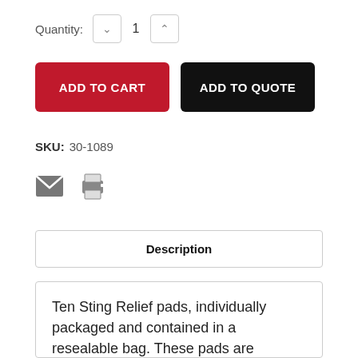Quantity: 1
ADD TO CART
ADD TO QUOTE
SKU: 30-1089
[Figure (infographic): Email icon and print icon]
Description
Reviews
Ten Sting Relief pads, individually packaged and contained in a resealable bag. These pads are designed to provide temporary relief of pain and itching associated with minor burns, scrapes and